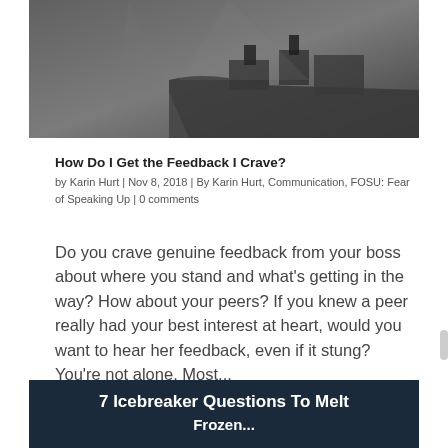[Figure (photo): Black and white artistic photo of a surreal building/structure on a cliff edge]
How Do I Get the Feedback I Crave?
by Karin Hurt | Nov 8, 2018 | By Karin Hurt, Communication, FOSU: Fear of Speaking Up | 0 comments
Do you crave genuine feedback from your boss about where you stand and what's getting in the way? How about your peers? If you knew a peer really had your best interest at heart, would you want to hear her feedback, even if it stung? You're not alone. Most...
[Figure (photo): Dark blue/teal banner image with text: 7 Icebreaker Questions To Melt [and more text cut off]]